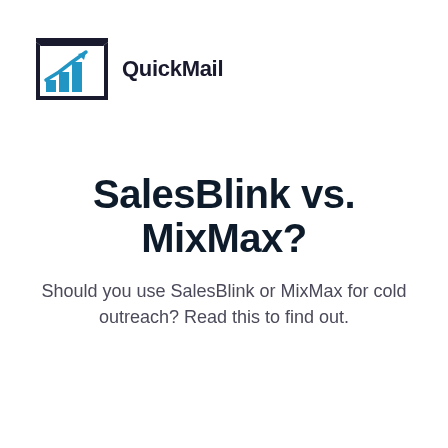[Figure (logo): QuickMail logo: envelope icon with a bar chart arrow overlay in black and teal/blue, followed by the text 'QuickMail' in bold dark font]
SalesBlink vs. MixMax?
Should you use SalesBlink or MixMax for cold outreach? Read this to find out.